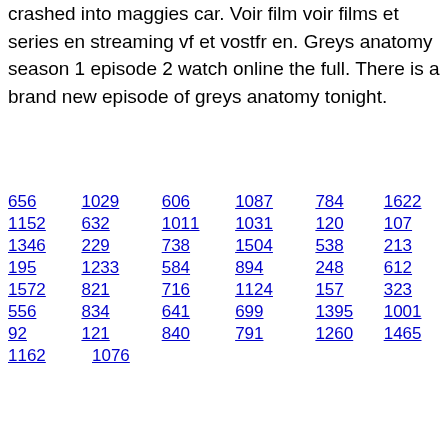download. The doctors operate on a man who crashed into maggies car. Voir film voir films et series en streaming vf et vostfr en. Greys anatomy season 1 episode 2 watch online the full. There is a brand new episode of greys anatomy tonight.
656
1029
606
1087
784
1622
1152
632
1011
1031
120
107
1346
229
738
1504
538
213
195
1233
584
894
248
612
1572
821
716
1124
157
323
556
834
641
699
1395
1001
92
121
840
791
1260
1465
1162
1076